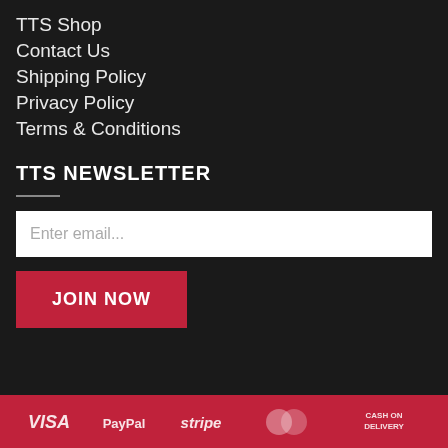TTS Shop
Contact Us
Shipping Policy
Privacy Policy
Terms & Conditions
TTS NEWSLETTER
Enter email...
JOIN NOW
[Figure (other): Payment method icons: VISA, PayPal, stripe, MasterCard, Cash on Delivery on a red background bar]